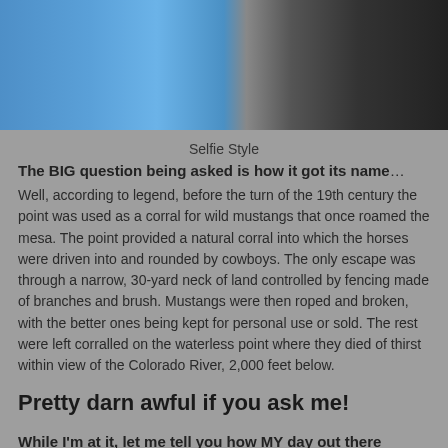[Figure (photo): Selfie-style photo of two people, one wearing a blue Adidas jersey, cropped at the top of the page]
Selfie Style
The BIG question being asked is how it got its name… Well, according to legend, before the turn of the 19th century the point was used as a corral for wild mustangs that once roamed the mesa. The point provided a natural corral into which the horses were driven into and rounded by cowboys. The only escape was through a narrow, 30-yard neck of land controlled by fencing made of branches and brush. Mustangs were then roped and broken, with the better ones being kept for personal use or sold. The rest were left corralled on the waterless point where they died of thirst within view of the Colorado River, 2,000 feet below.
Pretty darn awful if you ask me!
While I'm at it, let me tell you how MY day out there went… We drove out to Dead Horse Point State Park on the Scenic Byway 313 and it was obvious that there was plenty of cloud cover; I was okay